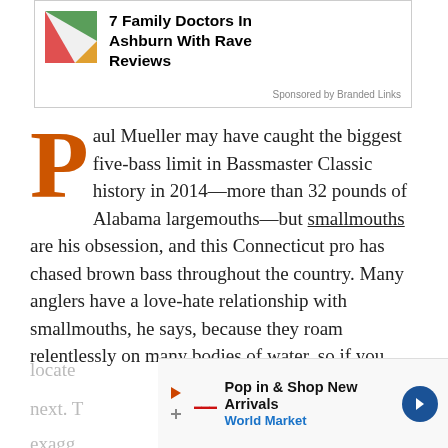[Figure (screenshot): Advertisement banner: colorful geometric icon on left, bold text '7 Family Doctors In Ashburn With Rave Reviews', 'Sponsored by Branded Links' at bottom right]
Paul Mueller may have caught the biggest five-bass limit in Bassmaster Classic history in 2014—more than 32 pounds of Alabama largemouths—but smallmouths are his obsession, and this Connecticut pro has chased brown bass throughout the country. Many anglers have a love-hate relationship with smallmouths, he says, because they roam relentlessly on many bodies of water, so if you locate [text continues behind ad] the next. The [text continues] exagg[erated text continues] tampe[red text continues and]
[Figure (screenshot): Advertisement overlay: World Market 'Pop in & Shop New Arrivals' with blue arrow navigation icon and small logo, play and close icons visible]